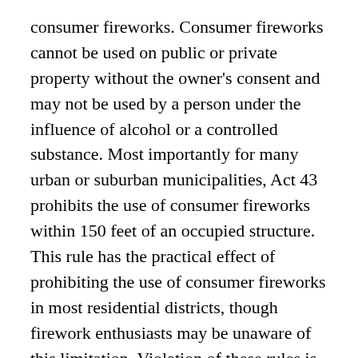consumer fireworks. Consumer fireworks cannot be used on public or private property without the owner's consent and may not be used by a person under the influence of alcohol or a controlled substance. Most importantly for many urban or suburban municipalities, Act 43 prohibits the use of consumer fireworks within 150 feet of an occupied structure. This rule has the practical effect of prohibiting the use of consumer fireworks in most residential districts, though firework enthusiasts may be unaware of this limitation. Violation of these rules is a summary offense punishable by a fine of $100 under the Act.
So how should a municipality plan for the next July 4th holiday, and for the safe use of fireworks year-round? First, remind residents that the use of large, "display fireworks" still requires a permit. The Fireworks Act authorizes municipalities to...